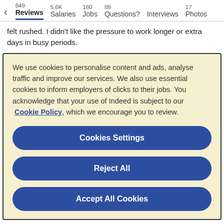< 849 Reviews | 5.6K Salaries | 160 Jobs | 89 Questions? | Interviews | 17 Photos
felt rushed. I didn't like the pressure to work longer or extra days in busy periods.
We use cookies to personalise content and ads, analyse traffic and improve our services. We also use essential cookies to inform employers of clicks to their jobs. You acknowledge that your use of Indeed is subject to our Cookie Policy, which we encourage you to review.
Cookies Settings
Reject All
Accept All Cookies